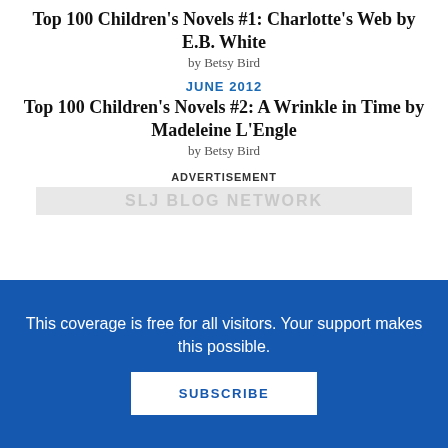Top 100 Children's Novels #1: Charlotte's Web by E.B. White
by Betsy Bird
JUNE 2012
Top 100 Children's Novels #2: A Wrinkle in Time by Madeleine L'Engle
by Betsy Bird
ADVERTISEMENT
This coverage is free for all visitors. Your support makes this possible.
SUBSCRIBE